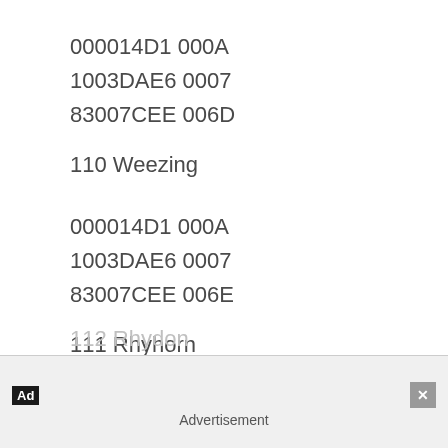000014D1 000A
1003DAE6 0007
83007CEE 006D
110 Weezing
000014D1 000A
1003DAE6 0007
83007CEE 006E
111 Rhyhorn
000014D1 000A
1003DAE6 0007
83007CEE 006F
112 Rhydon
Advertisement